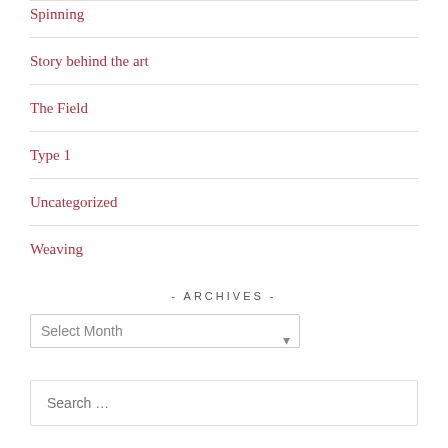Spinning
Story behind the art
The Field
Type 1
Uncategorized
Weaving
- ARCHIVES -
Select Month (dropdown)
Search …